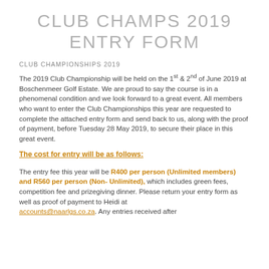CLUB CHAMPS 2019 ENTRY FORM
CLUB CHAMPIONSHIPS 2019
The 2019 Club Championship will be held on the 1st & 2nd of June 2019 at Boschenmeer Golf Estate. We are proud to say the course is in a phenomenal condition and we look forward to a great event. All members who want to enter the Club Championships this year are requested to complete the attached entry form and send back to us, along with the proof of payment, before Tuesday 28 May 2019, to secure their place in this great event.
The cost for entry will be as follows:
The entry fee this year will be R400 per person (Unlimited members) and R560 per person (Non-Unlimited), which includes green fees, competition fee and prizegiving dinner. Please return your entry form as well as proof of payment to Heidi at accounts@naarlgs.co.za. Any entries received after